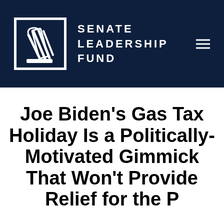[Figure (logo): Senate Leadership Fund logo: dark navy header with white torch/scroll icon and organization name in white uppercase letters, plus hamburger menu icon on the right]
Joe Biden’s Gas Tax Holiday Is a Politically-Motivated Gimmick That Won’t Provide Relief for the P...